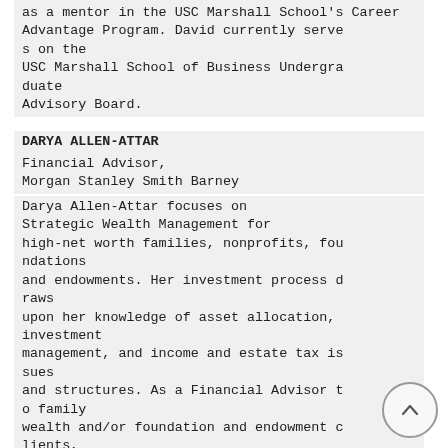as a mentor in the USC Marshall School's Career Advantage Program. David currently serves on the USC Marshall School of Business Undergraduate Advisory Board.
DARYA ALLEN-ATTAR
Financial Advisor, Morgan Stanley Smith Barney
Darya Allen-Attar focuses on Strategic Wealth Management for high-net worth families, nonprofits, foundations and endowments. Her investment process draws upon her knowledge of asset allocation, investment management, and income and estate tax issues and structures. As a Financial Advisor to family wealth and/or foundation and endowment clients, Ms. Allen-Attar brings a wealth of knowl